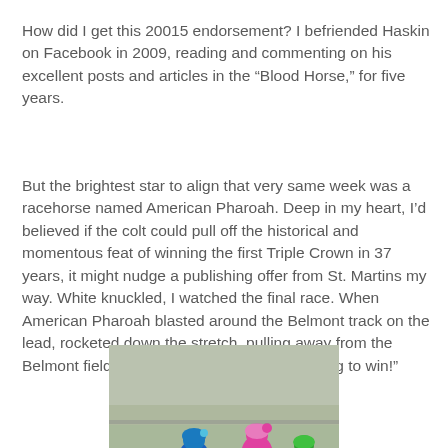How did I get this 20015 endorsement? I befriended Haskin on Facebook in 2009, reading and commenting on his excellent posts and articles in the “Blood Horse,” for five years.
But the brightest star to align that very same week was a racehorse named American Pharoah. Deep in my heart, I’d believed if the colt could pull off the historical and momentous feat of winning the first Triple Crown in 37 years, it might nudge a publishing offer from St. Martins my way. White knuckled, I watched the final race. When American Pharoah blasted around the Belmont track on the lead, rocketed down the stretch, pulling away from the Belmont field, I screamed, “My God, he’s going to win!”
[Figure (photo): Horse racing photo showing jockeys on horseback in a close race, with colorful silks (blue/yellow polka dots, pink/teal, green). Taken at Belmont track.]